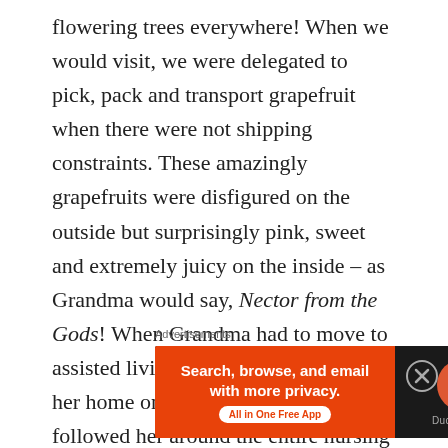flowering trees everywhere! When we would visit, we were delegated to pick, pack and transport grapefruit when there were not shipping constraints. These amazingly grapefruits were disfigured on the outside but surprisingly pink, sweet and extremely juicy on the inside – as Grandma would say, Nector from the Gods! When Grandma had to move to assisted living, I painted an acrylic of her home on Bangsburg Drive as it followed her around the entire nursing facility from room to room as she began to transition. It is donated to the nursing home for their assistance in making the last few years of her life as precious as possible. We were blessed with Jose, an employee
Advertisements
[Figure (infographic): DuckDuckGo advertisement banner: orange left panel with text 'Search, browse, and email with more privacy. All in One Free App' and a dark right panel with DuckDuckGo duck logo and brand name.]